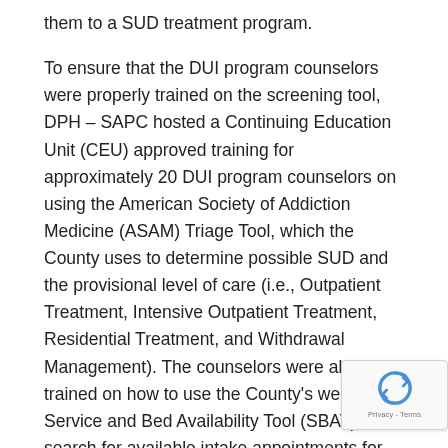them to a SUD treatment program.
To ensure that the DUI program counselors were properly trained on the screening tool, DPH – SAPC hosted a Continuing Education Unit (CEU) approved training for approximately 20 DUI program counselors on using the American Society of Addiction Medicine (ASAM) Triage Tool, which the County uses to determine possible SUD and the provisional level of care (i.e., Outpatient Treatment, Intensive Outpatient Treatment, Residential Treatment, and Withdrawal Management). The counselors were also trained on how to use the County's web-based Service and Bed Availability Tool (SBAT) to search for available intake appointments for the full ASAM Assessment.